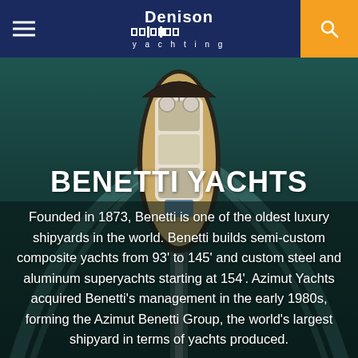Denison Yachting
[Figure (photo): Aerial view of a large luxury motor yacht underway on dark teal ocean water, viewed from above and behind, showing the vessel's wake and superstructure with radar domes.]
BENETTI YACHTS
Founded in 1873, Benetti is one of the oldest luxury shipyards in the world. Benetti builds semi-custom composite yachts from 93' to 145' and custom steel and aluminum superyachts starting at 154'. Azimut Yachts acquired Benetti's management in the early 1980s, forming the Azimut Benetti Group, the world's largest shipyard in terms of yachts produced.